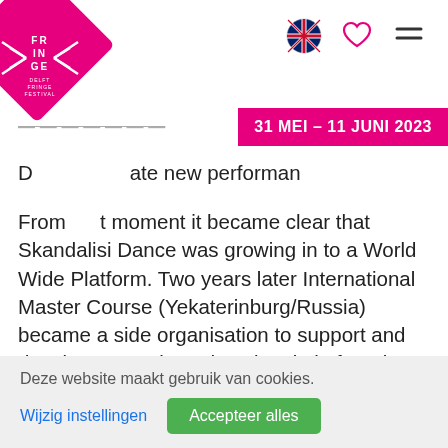[Figure (logo): Delft Fringe Festival diamond-shaped pink logo with FR IN GE text and decorative bow-tie shapes]
31 MEI – 11 JUNI 2023
Duplicate new performances. From that moment it became clear that Skandalisi Dance was growing in to a World Wide Platform. Two years later International Master Course (Yekaterinburg/Russia) became a side organisation to support and develop a Russian educational platform by bringing teachers to Russia. Today, Skandalisi Dance organises and participates in performances, workshops, school projects
Deze website maakt gebruik van cookies.
Wijzig instellingen
Accepteer alles